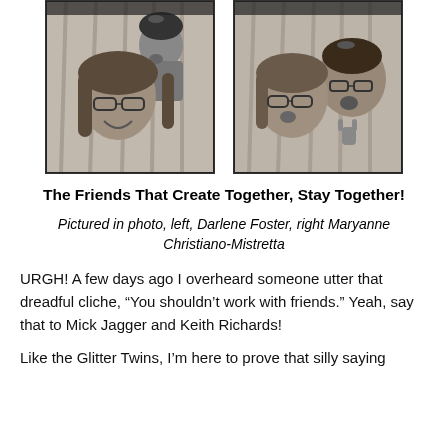[Figure (photo): Two black-and-white photo booth photos side by side. Left photo: two women, one smiling in the foreground with glasses and long hair, another behind her making a kiss face. Right photo: two women making funny faces, one with glasses and one making a rock-on hand gesture.]
The Friends That Create Together, Stay Together!
Pictured in photo, left, Darlene Foster, right Maryanne Christiano-Mistretta
URGH! A few days ago I overheard someone utter that dreadful cliche, “You shouldn’t work with friends.” Yeah, say that to Mick Jagger and Keith Richards!
Like the Glitter Twins, I’m here to prove that silly saying